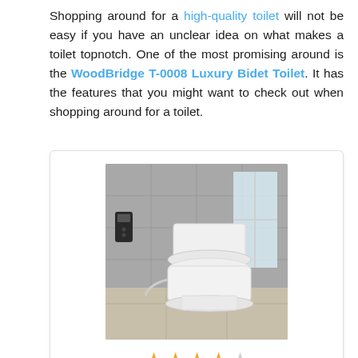Shopping around for a high-quality toilet will not be easy if you have an unclear idea on what makes a toilet topnotch. One of the most promising around is the WoodBridge T-0008 Luxury Bidet Toilet. It has the features that you might want to check out when shopping around for a toilet.
[Figure (photo): A white modern one-piece bidet toilet with an attached smart toilet seat, set against a gray tile wall in a bathroom with a window, with a wall-mounted remote control to the left.]